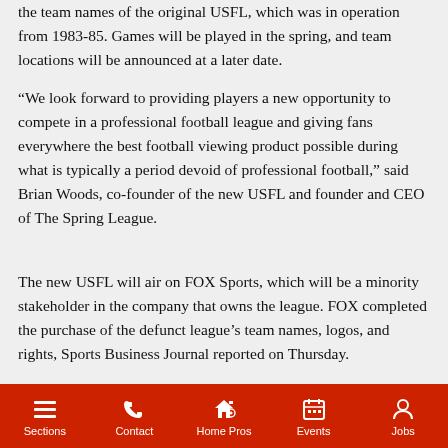the team names of the original USFL, which was in operation from 1983-85. Games will be played in the spring, and team locations will be announced at a later date.
“We look forward to providing players a new opportunity to compete in a professional football league and giving fans everywhere the best football viewing product possible during what is typically a period devoid of professional football,” said Brian Woods, co-founder of the new USFL and founder and CEO of The Spring League.
The new USFL will air on FOX Sports, which will be a minority stakeholder in the company that owns the league. FOX completed the purchase of the defunct league’s team names, logos, and rights, Sports Business Journal reported on Thursday.
Sections | Contact | Home Pros | Events | Jobs